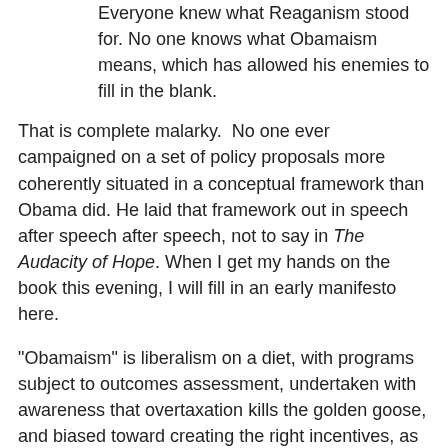Everyone knew what Reaganism stood for. No one knows what Obamaism means, which has allowed his enemies to fill in the blank.
That is complete malarky.  No one ever campaigned on a set of policy proposals more coherently situated in a conceptual framework than Obama did. He laid that framework out in speech after speech after speech, not to say in The Audacity of Hope. When I get my hands on the book this evening, I will fill in an early manifesto here.
"Obamaism" is liberalism on a diet, with programs subject to outcomes assessment, undertaken with awareness that overtaxation kills the golden goose, and biased toward creating the right incentives, as in the Race to the Top education program. It's mainstream  liberalism chastised by Reaganism: government as part of the solution but aware of its limitations and the law of unintended consequences. It is a liberalism that, thus chastened, bids to move a commitment to shared prosperity back to center of American politics: